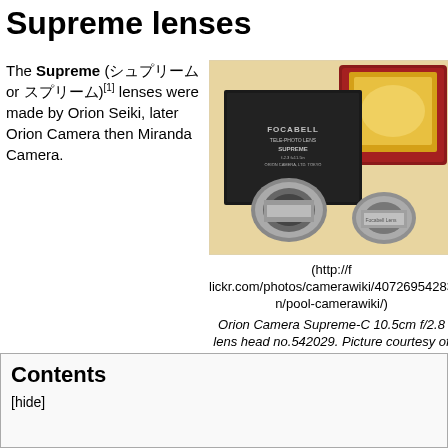Supreme lenses
The Supreme (シュープリーム or スープリーム)[1] lenses were made by Orion Seiki, later Orion Camera then Miranda Camera.
[Figure (photo): Orion Camera Supreme-C 10.5cm f/2.8 lens head no.542029 with Focabell tele-photo lens box and red velvet case. Photo shows lens components in silver, a black box labeled FOCABELL TELE-PHOTO LENS SUPREME, and an open red jewelry-style box.]
(http://flickr.com/photos/camerawiki/40726954283/in/pool-camerawiki/) Orion Camera Supreme-C 10.5cm f/2.8 lens head no.542029. Picture courtesy of eBayer toolchest. (Image rights).
Contents
[hide]